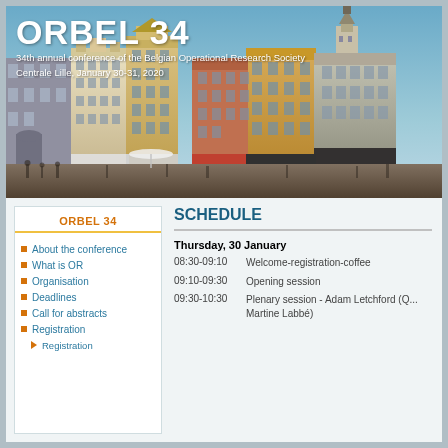[Figure (photo): City square photo of Lille, France showing historic buildings and a church tower, with people gathering in outdoor cafes. ORBEL 34 conference title overlaid on the image.]
ORBEL 34
34th annual conference of the Belgian Operational Research Society
Centrale Lille, January 30-31, 2020
ORBEL 34
About the conference
What is OR
Organisation
Deadlines
Call for abstracts
Registration
Registration
SCHEDULE
Thursday, 30 January
| Time | Event |
| --- | --- |
| 08:30-09:10 | Welcome-registration-coffee |
| 09:10-09:30 | Opening session |
| 09:30-10:30 | Plenary session - Adam Letchford (Q...
Martine Labbé) |